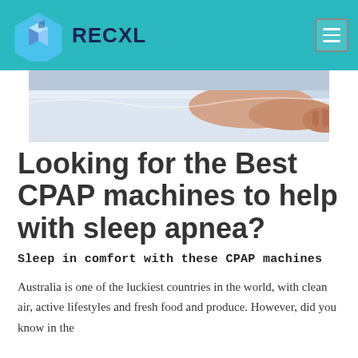RECXL
[Figure (photo): Person sleeping in bed, arm extended on white pillow/sheets]
Looking for the Best CPAP machines to help with sleep apnea?
Sleep in comfort with these CPAP machines
Australia is one of the luckiest countries in the world, with clean air, active lifestyles and fresh food and produce. However, did you know in the